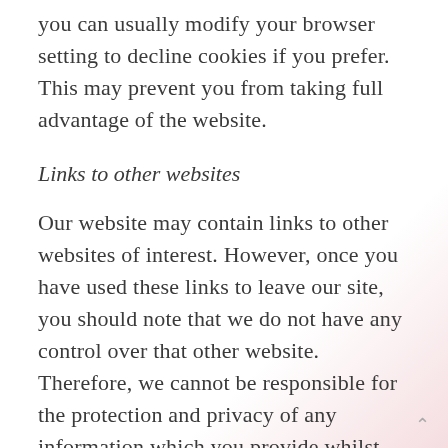you can usually modify your browser setting to decline cookies if you prefer. This may prevent you from taking full advantage of the website.
Links to other websites
Our website may contain links to other websites of interest. However, once you have used these links to leave our site, you should note that we do not have any control over that other website. Therefore, we cannot be responsible for the protection and privacy of any information which you provide whilst visiting such sites and such sites are not governed by this privacy statement. You should exercise caution and look at the privacy statement applicable to the